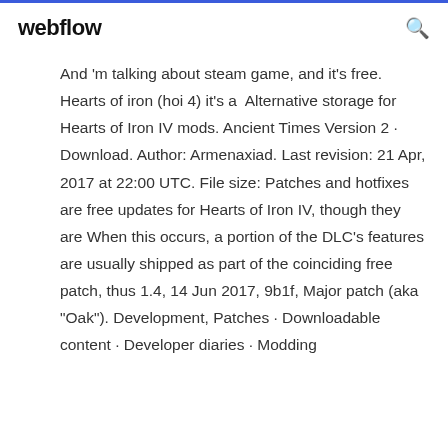webflow
And 'm talking about steam game, and it's free. Hearts of iron (hoi 4) it's a  Alternative storage for Hearts of Iron IV mods. Ancient Times Version 2 · Download. Author: Armenaxiad. Last revision: 21 Apr, 2017 at 22:00 UTC. File size: Patches and hotfixes are free updates for Hearts of Iron IV, though they are When this occurs, a portion of the DLC's features are usually shipped as part of the coinciding free patch, thus 1.4, 14 Jun 2017, 9b1f, Major patch (aka "Oak"). Development, Patches · Downloadable content · Developer diaries · Modding